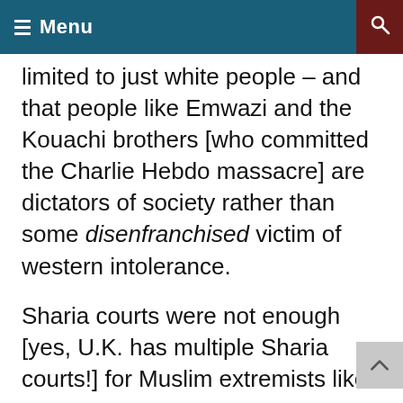Menu
limited to just white people – and that people like Emwazi and the Kouachi brothers [who committed the Charlie Hebdo massacre] are dictators of society rather than some disenfranchised victim of western intolerance.
Sharia courts were not enough [yes, U.K. has multiple Sharia courts!] for Muslim extremists like